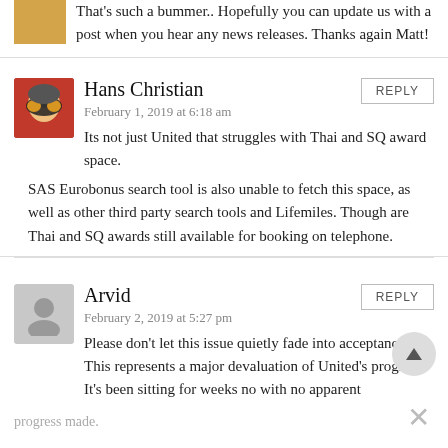That's such a bummer.. Hopefully you can update us with a post when you hear any news releases. Thanks again Matt!
Hans Christian
February 1, 2019 at 6:18 am
Its not just United that struggles with Thai and SQ award space. SAS Eurobonus search tool is also unable to fetch this space, as well as other third party search tools and Lifemiles. Though are Thai and SQ awards still available for booking on telephone.
Arvid
February 2, 2019 at 5:27 pm
Please don't let this issue quietly fade into acceptance. This represents a major devaluation of United's program. It's been sitting for weeks no with no apparent progress made.